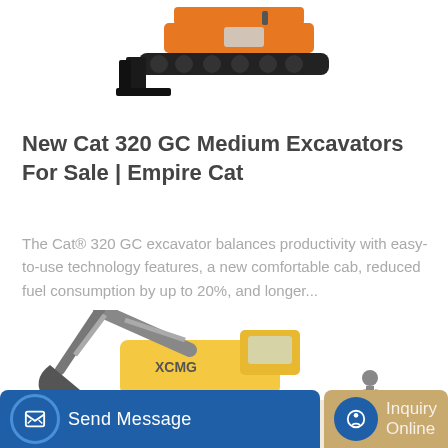[Figure (photo): Orange Cat 320 GC medium excavator viewed from above/front, showing tracks and dozer blade, on white background.]
New Cat 320 GC Medium Excavators For Sale | Empire Cat
The Cat® 320 GC excavator balances productivity with easy-to-use technology features, a new comfortable cab, reduced fuel consumption by up to 20%, and longer...
[Figure (photo): Yellow XCMG excavator on a job site, partially visible, workers in background.]
Send Message
Inquiry Online